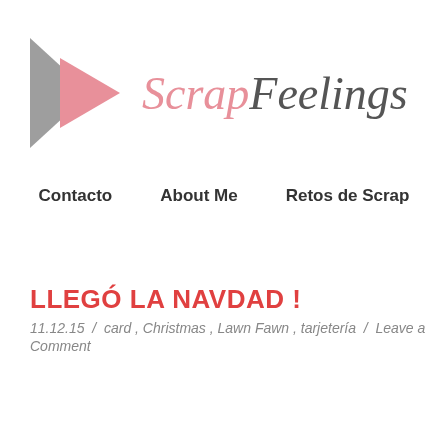[Figure (logo): ScrapFeelings blog logo with two overlapping triangles (gray and pink) pointing right, followed by the text 'Scrap' in pink italic and 'Feelings' in dark gray italic]
Contacto   About Me   Retos de Scrap
LLEGÓ LA NAVDAD !
11.12.15  /  card , Christmas , Lawn Fawn , tarjetería  /  Leave a Comment